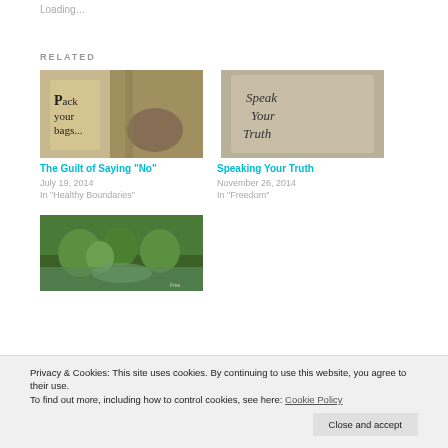Loading…
RELATED
[Figure (photo): A canvas bag with text 'Pack your bags...' with luggage in background]
The Guilt of Saying "No"
July 19, 2014
In "Healthy Boundaries"
[Figure (photo): A wooden block with text 'Speak Your Truth' written on it]
Speaking Your Truth
November 26, 2014
In "Freedom"
[Figure (photo): A green garden with pond and trees]
Privacy & Cookies: This site uses cookies. By continuing to use this website, you agree to their use.
To find out more, including how to control cookies, see here: Cookie Policy
Close and accept